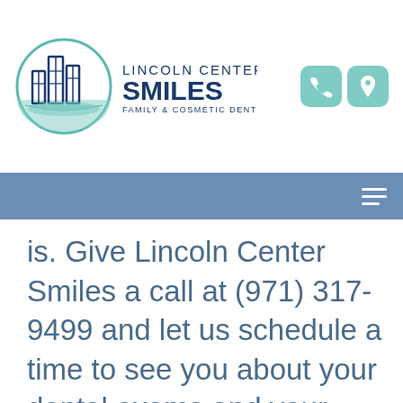[Figure (logo): Lincoln Center Smiles Family & Cosmetic Dentistry logo with circular building icon and teal/navy text]
[Figure (infographic): Teal phone icon and teal location pin icon in rounded square boxes]
[Figure (other): Hamburger menu icon (three horizontal lines) on steel-blue navigation bar]
is. Give Lincoln Center Smiles a call at (971) 317-9499 and let us schedule a time to see you about your dental exams and your dental health.